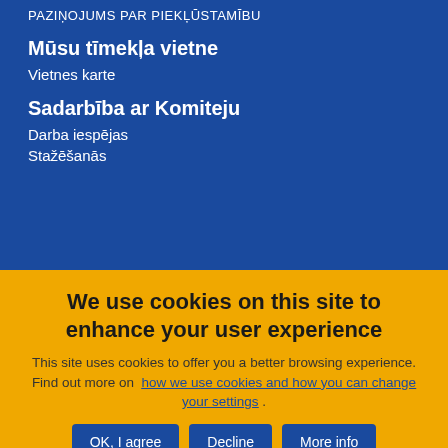PAZIŅOJUMS PAR PIEKĻŪSTAMĪBU
Mūsu tīmekļa vietne
Vietnes karte
Sadarbība ar Komiteju
Darba iespējas
Stažēšanās
We use cookies on this site to enhance your user experience
This site uses cookies to offer you a better browsing experience. Find out more on how we use cookies and how you can change your settings .
OK, I agree | Decline | More info